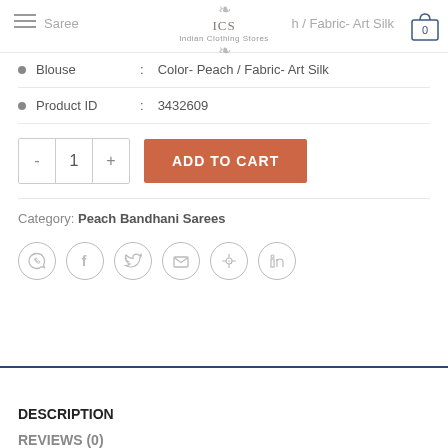ICS Indian Clothing Stores — Saree — h/Fabric- Art Silk
Blouse : Color- Peach / Fabric- Art Silk
Product ID : 3432609
- 1 + ADD TO CART
Category: Peach Bandhani Sarees
[Figure (other): Social sharing icons: WhatsApp, Facebook, Twitter, Email, Pinterest, LinkedIn]
DESCRIPTION
REVIEWS (0)